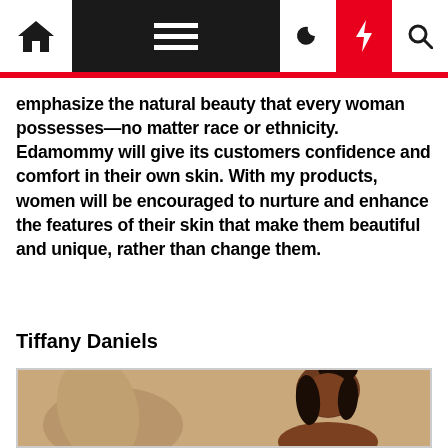Navigation bar with home, menu, moon, lightning, and search icons
emphasize the natural beauty that every woman possesses—no matter race or ethnicity. Edamommy will give its customers confidence and comfort in their own skin. With my products, women will be encouraged to nurture and enhance the features of their skin that make them beautiful and unique, rather than change them.
Tiffany Daniels
[Figure (photo): Portrait of a woman with dark hair in a high bun, wearing minimal makeup, with a tan/nude sculptural object in the foreground. Photo has a warm beige/tan background.]